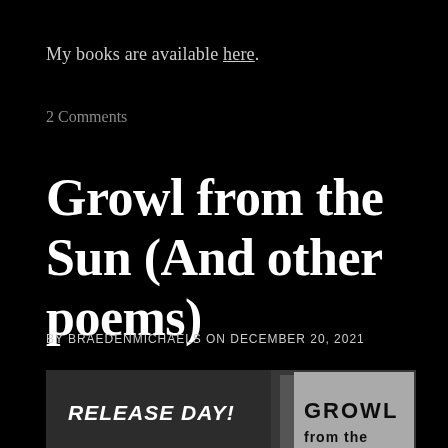My books are available here.
2 Comments
Growl from the Sun (And other poems)
BY BRAEDENMICHAELS ON DECEMBER 20, 2021
[Figure (photo): Partial book cover image showing 'GROWL' text on a dark background with release day announcement. Image is cropped at bottom.]